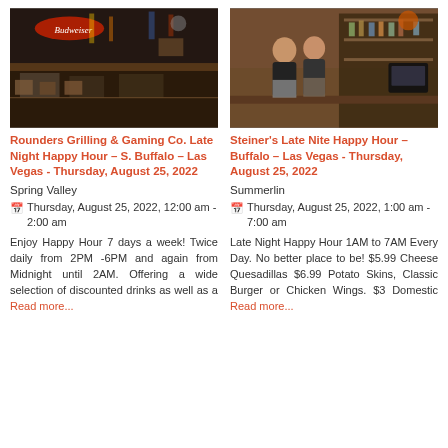[Figure (photo): Interior of Rounders Grilling & Gaming Co. bar showing patrons seated at bar with neon Budweiser sign and dim atmospheric lighting]
Rounders Grilling & Gaming Co. Late Night Happy Hour – S. Buffalo – Las Vegas - Thursday, August 25, 2022
Spring Valley
Thursday, August 25, 2022, 12:00 am - 2:00 am
Enjoy Happy Hour 7 days a week! Twice daily from 2PM -6PM and again from Midnight until 2AM. Offering a wide selection of discounted drinks as well as a Read more...
[Figure (photo): Two women standing behind the bar at Steiner's Late Nite Happy Hour bar in Las Vegas]
Steiner's Late Nite Happy Hour – Buffalo – Las Vegas - Thursday, August 25, 2022
Summerlin
Thursday, August 25, 2022, 1:00 am - 7:00 am
Late Night Happy Hour 1AM to 7AM Every Day. No better place to be! $5.99 Cheese Quesadillas $6.99 Potato Skins, Classic Burger or Chicken Wings. $3 Domestic Read more...